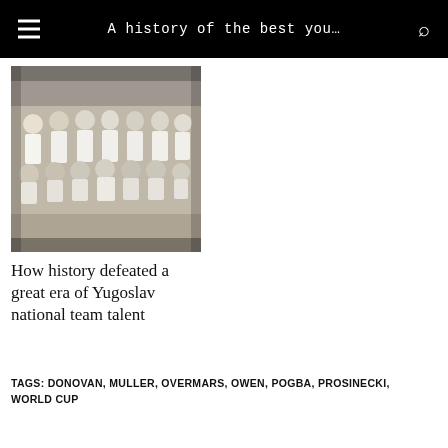A history of the best you…
[Figure (photo): Black and white team photo of a Yugoslav national football team, players in two rows — standing and kneeling — wearing white jerseys.]
How history defeated a great era of Yugoslav national team talent
TAGS: DONOVAN, MULLER, OVERMARS, OWEN, POGBA, PROSINECKI, WORLD CUP